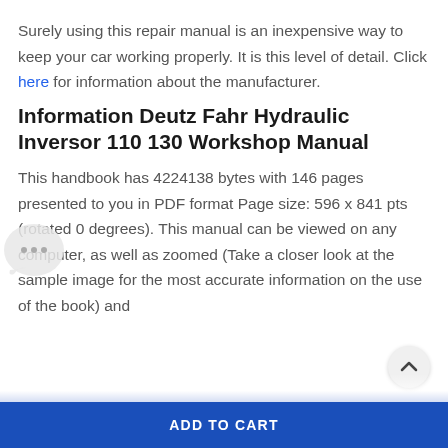Surely using this repair manual is an inexpensive way to keep your car working properly. It is this level of detail. Click here for information about the manufacturer.
Information Deutz Fahr Hydraulic Inversor 110 130 Workshop Manual
This handbook has 4224138 bytes with 146 pages presented to you in PDF format Page size: 596 x 841 pts (rotated 0 degrees). This manual can be viewed on any computer, as well as zoomed (Take a closer look at the sample image for the most accurate information on the use of the book) and
ADD TO CART